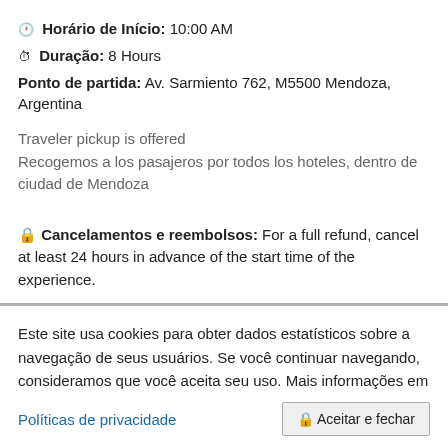🕐 Horário de Início: 10:00 AM
⏱ Duração: 8 Hours
Ponto de partida: Av. Sarmiento 762, M5500 Mendoza, Argentina
Traveler pickup is offered
Recogemos a los pasajeros por todos los hoteles, dentro de ciudad de Mendoza
🔒 Cancelamentos e reembolsos: For a full refund, cancel at least 24 hours in advance of the start time of the experience.
Este site usa cookies para obter dados estatísticos sobre a navegação de seus usuários. Se você continuar navegando, consideramos que você aceita seu uso. Mais informações em
Políticas de privacidade
🔒 Aceitar e fechar